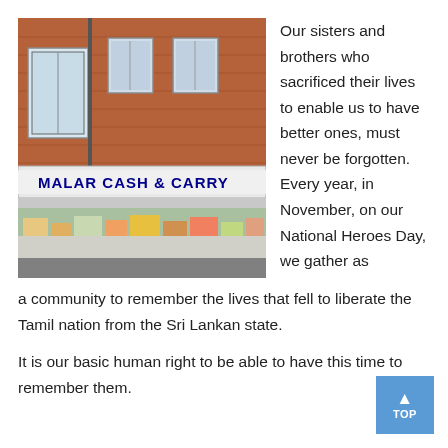[Figure (photo): Street-level photo of a UK high street shop called 'MALAR CASH & CARRY' with a blue sign, brick building above with bay windows, and goods visible in the shopfront window display.]
Our sisters and brothers who sacrificed their lives to enable us to have better ones, must never be forgotten. Every year, in November, on our National Heroes Day, we gather as a community to remember the lives that fell to liberate the Tamil nation from the Sri Lankan state.
It is our basic human right to be able to have this time to remember them.